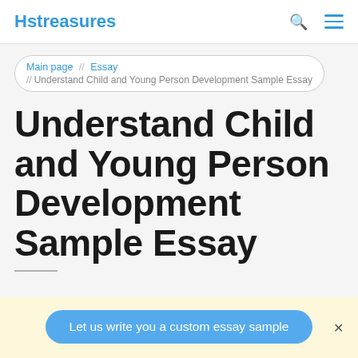Hstreasures
Main page // Essay // Understand Child and Young Person Development Sample Essay
Understand Child and Young Person Development Sample Essay
Let us write you a custom essay sample